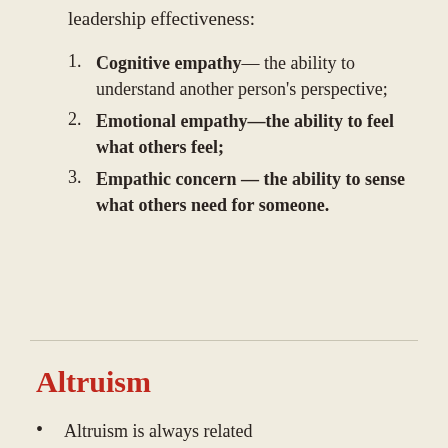leadership effectiveness:
Cognitive empathy— the ability to understand another person's perspective;
Emotional empathy—the ability to feel what others feel;
Empathic concern — the ability to sense what others need for someone.
Altruism
Altruism is always related